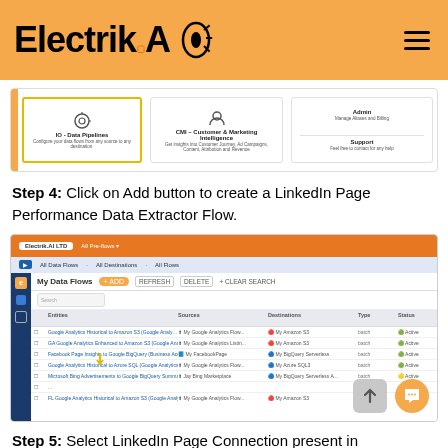Electrik.AI
[Figure (screenshot): Screenshot of Electrik.AI dashboard showing IO Data Pipelines, CMI Customer & Marketing Intelligence, Admin, and Support options]
Step 4: Click on Add button to create a LinkedIn Page Performance Data Extractor Flow.
[Figure (screenshot): Screenshot of Electrik.AI My Data Flows interface showing a list of data flows with columns for Source, Destination, Type, Status, and Connection Freshness]
Step 5: Select LinkedIn Page Connection present in